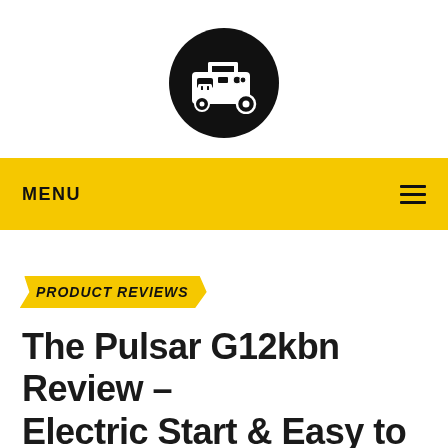[Figure (logo): Black circular logo with white generator/power equipment icon]
MENU
PRODUCT REVIEWS
The Pulsar G12kbn Review – Electric Start & Easy to Assemble